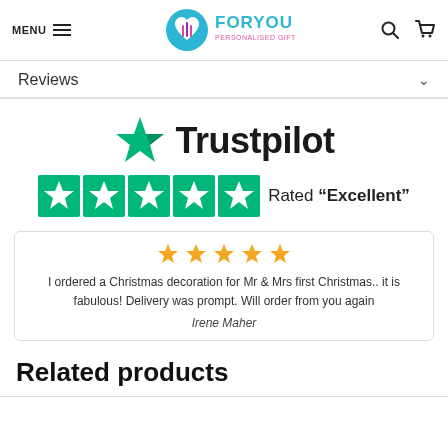[Figure (logo): ForYou Personalised Gifts website header with MENU hamburger icon, heart/gift logo, FORYOU PERSONALISED GIFTS brand name, search icon, and cart icon]
Reviews
[Figure (logo): Trustpilot logo with green star and 'Trustpilot' text, followed by 5 green star rating boxes and 'Rated "Excellent"' text]
I ordered a Christmas decoration for Mr & Mrs first Christmas.. it is fabulous! Delivery was prompt. Will order from you again
Irene Maher
Related products